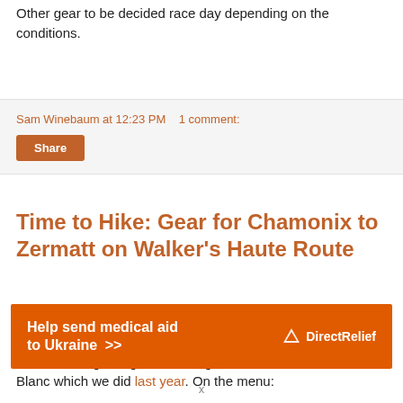Other gear to be decided race day depending on the conditions.
Sam Winebaum at 12:23 PM   1 comment:
Share
Time to Hike: Gear for Chamonix to Zermatt on Walker's Haute Route
We are off in a week or so for our annual "big" hike. This year we are tackling the Walker's Haute Route from Chamonix to Zermatt. Longer, higher,and tougher than the Tour du Mont Blanc which we did last year. On the menu:
[Figure (infographic): Orange advertisement banner: 'Help send medical aid to Ukraine >>' with Direct Relief logo on right side]